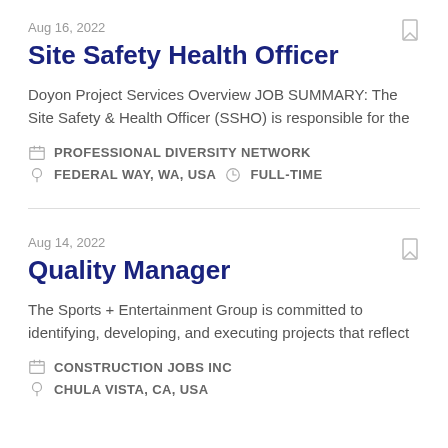Aug 16, 2022
Site Safety Health Officer
Doyon Project Services Overview JOB SUMMARY: The Site Safety & Health Officer (SSHO) is responsible for the
PROFESSIONAL DIVERSITY NETWORK
FEDERAL WAY, WA, USA   FULL-TIME
Aug 14, 2022
Quality Manager
The Sports + Entertainment Group is committed to identifying, developing, and executing projects that reflect
CONSTRUCTION JOBS INC
CHULA VISTA, CA, USA